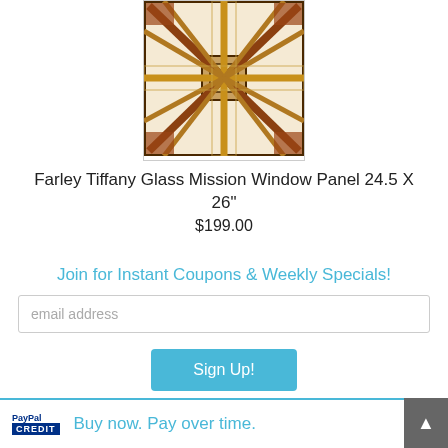[Figure (photo): Farley Tiffany Glass Mission Window Panel — decorative stained glass with geometric Art Deco pattern in amber, brown, and cream tones]
Farley Tiffany Glass Mission Window Panel 24.5 X 26"
$199.00
Join for Instant Coupons & Weekly Specials!
email address
Sign Up!
Buy now. Pay over time.